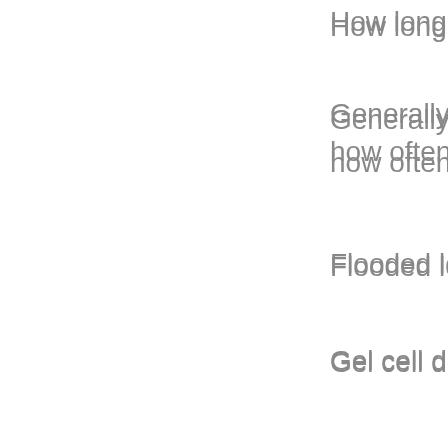How long do deep
Generally, the life s
how often it is deep
Flooded lead-acid c
Gel cell deep cycle
AGM deep cycle: 4
Marine battery to la
Starting battery: 3-
What affects the lif
Undercharging and
Complete discharg
Extreme Temperat